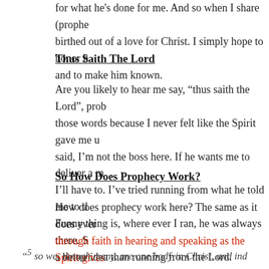for what he's done for me.  And so when I share (prophe birthed out of a love for Christ.  I simply hope to honor h and to make him known.
Thus Saith The Lord
Are you likely to hear me say, “thus saith the Lord”, prob those words because I never felt like the Spirit gave me u said, I’m not the boss here.  If he wants me to deliver a m I’ll have to.  I’ve tried running from what he told me to d Funny thing is, where ever I ran, he was always there.  S a better idea than running from the Lord.
So How Does Prophecy Work?
How does prophecy work here? The same as it does ever through faith in hearing and speaking as the Spirit gives
“⁵ so we, though many, are one body in Christ, and ind